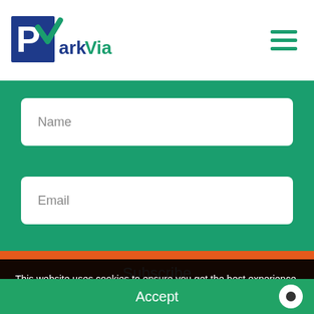[Figure (logo): ParkVia logo with blue P in white box and green checkmark, text 'ParkVia' in dark blue and green]
[Figure (infographic): Hamburger menu icon (three horizontal green lines) in top right corner]
Name
Email
Subscribe
This website uses cookies to ensure you get the best experience. Privacy Policy
Accept